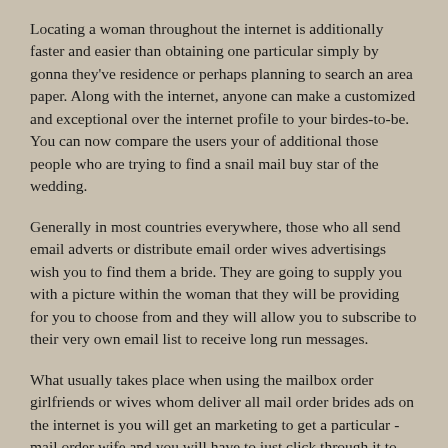Locating a woman throughout the internet is additionally faster and easier than obtaining one particular simply by gonna they've residence or perhaps planning to search an area paper. Along with the internet, anyone can make a customized and exceptional over the internet profile to your birdes-to-be. You can now compare the users your of additional those people who are trying to find a snail mail buy star of the wedding.
Generally in most countries everywhere, those who all send email adverts or distribute email order wives advertisings wish you to find them a bride. They are going to supply you with a picture within the woman that they will be providing for you to choose from and they will allow you to subscribe to their very own email list to receive long run messages.
What usually takes place when using the mailbox order girlfriends or wives whom deliver all mail order brides ads on the internet is you will get an marketing to get a particular -mail order wife and you will have to just click through it to find out more information about the bride they may be offering. A